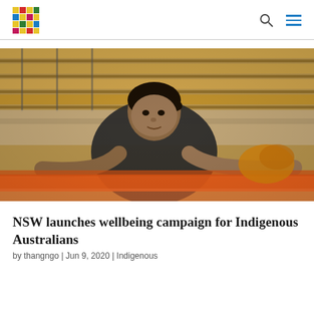[Logo] NSW Government / Indigenous Health site header with search and menu icons
[Figure (photo): A young Indigenous Australian woman in a black t-shirt leaning forward on an orange railing at a sports stadium with bleachers in the background]
NSW launches wellbeing campaign for Indigenous Australians
by thangngo | Jun 9, 2020 | Indigenous